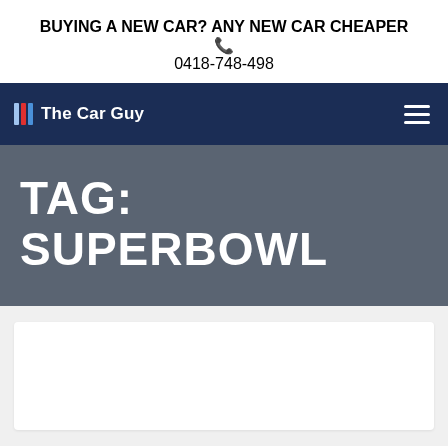BUYING A NEW CAR? ANY NEW CAR CHEAPER
0418-748-498
[Figure (logo): The Car Guy logo with colored stripes and navigation hamburger menu on dark navy background]
TAG: SUPERBOWL